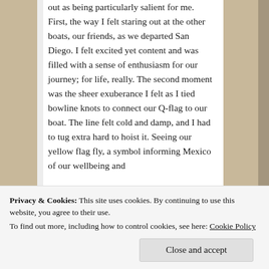out as being particularly salient for me. First, the way I felt staring out at the other boats, our friends, as we departed San Diego. I felt excited yet content and was filled with a sense of enthusiasm for our journey; for life, really. The second moment was the sheer exuberance I felt as I tied bowline knots to connect our Q-flag to our boat. The line felt cold and damp, and I had to tug extra hard to hoist it. Seeing our yellow flag fly, a symbol informing Mexico of our wellbeing and
Privacy & Cookies: This site uses cookies. By continuing to use this website, you agree to their use.
To find out more, including how to control cookies, see here: Cookie Policy